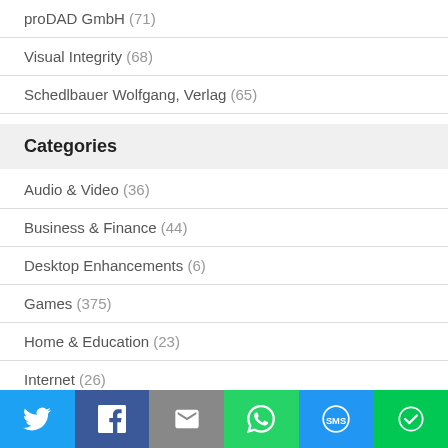proDAD GmbH (71)
Visual Integrity (68)
Schedlbauer Wolfgang, Verlag (65)
Categories
Audio & Video (36)
Business & Finance (44)
Desktop Enhancements (6)
Games (375)
Home & Education (23)
Internet (26)
Other (655)